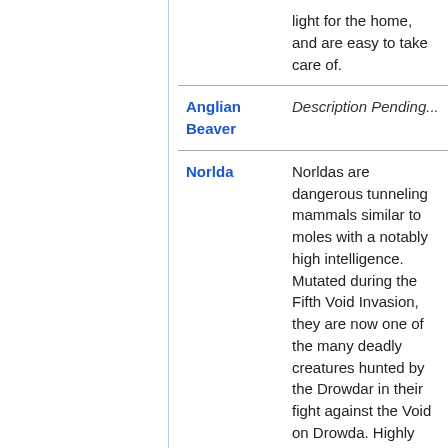| Name | Description |
| --- | --- |
|  | light for the home, and are easy to take care of. |
| Anglian Beaver | Description Pending... |
| Norlda | Norldas are dangerous tunneling mammals similar to moles with a notably high intelligence. Mutated during the Fifth Void Invasion, they are now one of the many deadly creatures hunted by the Drowdar in their fight against the Void on Drowda. Highly resistant to toxins yet poor at digesting, Norldas act as pests for the Drowdar while their body parts are eagerly sought after by alchemists. |